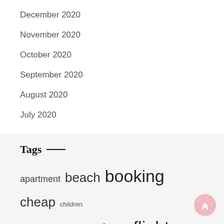December 2020
November 2020
October 2020
September 2020
August 2020
July 2020
Tags
apartment beach booking cheap children cruise details expert facts flight greatest guide helicopter Hoboken cleaning service hotel